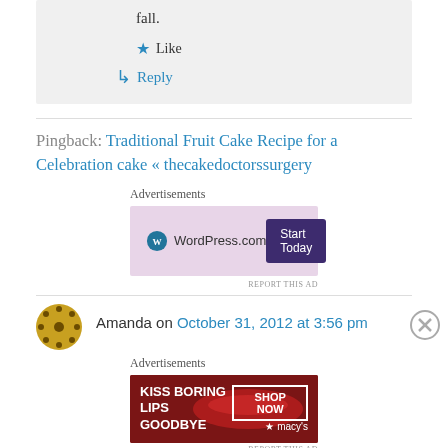fall.
★ Like
↳ Reply
Pingback: Traditional Fruit Cake Recipe for a Celebration cake « thecakedoctorssurgery
Advertisements
[Figure (screenshot): WordPress.com advertisement banner with pink/lavender background showing WordPress.com logo and 'Start Today' dark purple button]
REPORT THIS AD
Amanda on October 31, 2012 at 3:56 pm
Advertisements
[Figure (screenshot): Macy's advertisement banner with dark red background showing 'KISS BORING LIPS GOODBYE' text, lips photo, 'SHOP NOW' button and Macy's logo with star]
REPORT THIS AD